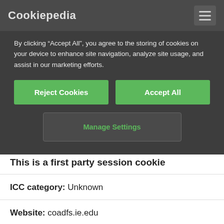Cookiepedia
By clicking “Accept All”, you agree to the storing of cookies on your device to enhance site navigation, analyze site usage, and assist in our marketing efforts.
Reject Cookies | Accept All | Manage Settings
This is a first party session cookie
ICC category: Unknown
Website: coadfs.ie.edu
See all cookies on this website